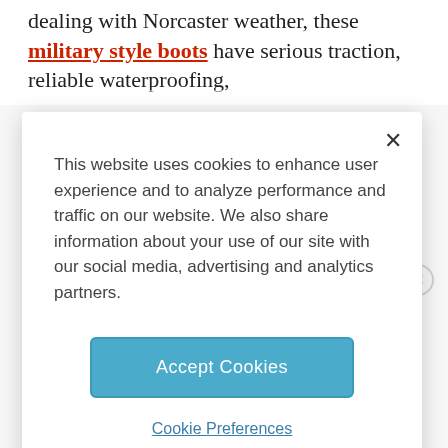dealing with Norcaster weather, these military style boots have serious traction, reliable waterproofing,
[Figure (screenshot): Cookie consent modal dialog with 'Accept Cookies' button and 'Cookie Preferences' link]
This website uses cookies to enhance user experience and to analyze performance and traffic on our website. We also share information about your use of our site with our social media, advertising and analytics partners.
Accept Cookies
Cookie Preferences
ADVERTISEMENT
Best Winter Hiking Boots for Men